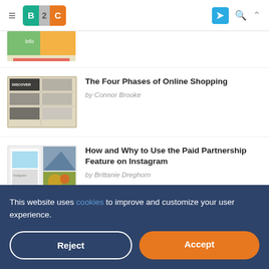B2C
[Figure (screenshot): Partial article thumbnail showing infographic with orange and green colors]
[Figure (screenshot): Article thumbnail showing a discovery/shopping infographic with dark and gold color scheme]
The Four Phases of Online Shopping
by Connor Brooke
[Figure (screenshot): Article thumbnail showing Instagram feature with food and architecture images]
How and Why to Use the Paid Partnership Feature on Instagram
by Brittanie Dreghorn
This website uses cookies to improve and customize your user experience.